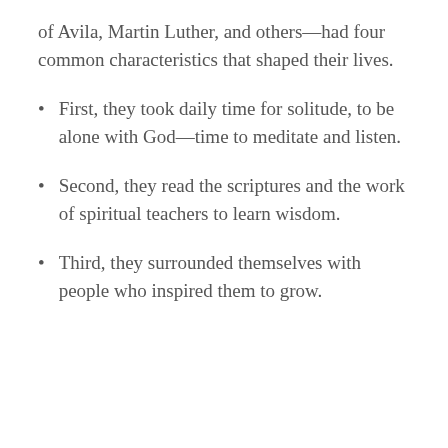of Avila, Martin Luther, and others—had four common characteristics that shaped their lives.
First, they took daily time for solitude, to be alone with God—time to meditate and listen.
Second, they read the scriptures and the work of spiritual teachers to learn wisdom.
Third, they surrounded themselves with people who inspired them to grow.